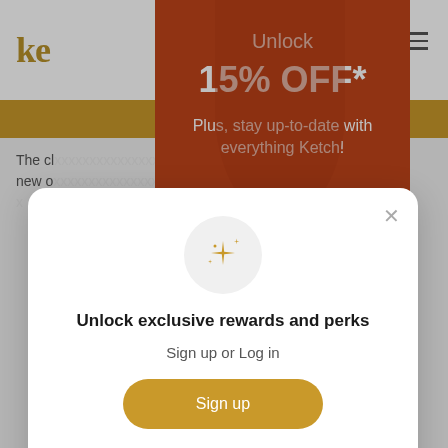[Figure (screenshot): Background website page with Ketch logo, navigation, gold banner, and hero image with orange/red model photo and text overlay showing '15% OFF*' discount promotion]
[Figure (screenshot): Modal popup with sparkle icon, 'Unlock exclusive rewards and perks' title, 'Sign up or Log in' subtitle, 'Sign up' button, and 'Already have an account? Sign in' link]
Unlock exclusive rewards and perks
Sign up or Log in
Sign up
Already have an account? Sign in